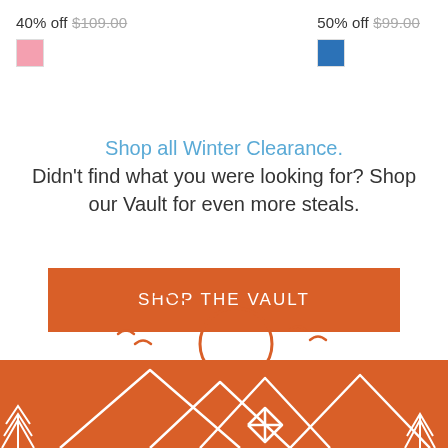40% off $109.00
50% off $99.00
Shop all Winter Clearance. Didn't find what you were looking for? Shop our Vault for even more steals.
[Figure (illustration): Orange button labeled SHOP THE VAULT]
[Figure (illustration): Orange line-art illustration of mountains, trees, road, sun, and birds on white and orange background banner]